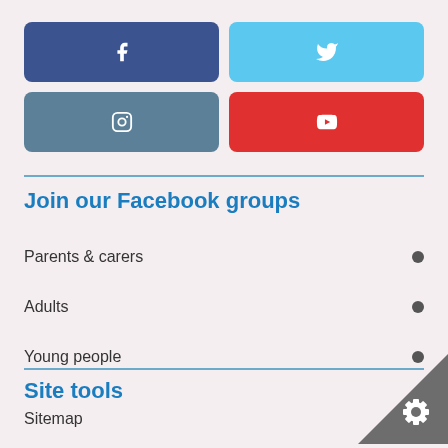[Figure (infographic): Four social media button icons: Facebook (dark blue, f icon), Twitter (light blue, bird icon), Instagram (steel blue, camera icon), YouTube (red, play button icon)]
Join our Facebook groups
Parents & carers
Adults
Young people
Site tools
Sitemap